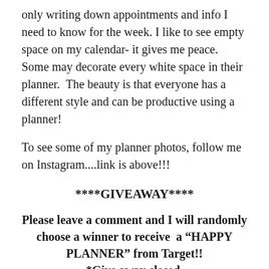only writing down appointments and info I need to know for the week. I like to see empty space on my calendar- it gives me peace.  Some may decorate every white space in their planner.  The beauty is that everyone has a different style and can be productive using a planner!
To see some of my planner photos, follow me on Instagram....link is above!!!
****GIVEAWAY****
Please leave a comment and I will randomly choose a winner to receive  a “HAPPY PLANNER” from Target!! *Give away closed.
Linking up with Tatertots & Jello and Party at My